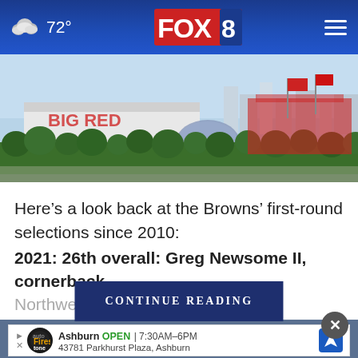☁ 72° FOX 8
[Figure (photo): Aerial view of a sports stadium complex with white buildings, palm trees, and flags visible in the background.]
Here’s a look back at the Browns’ first-round selections since 2010:
2021: 26th overall: Greg Newsome II, cornerback, Northwestern
CONTINUE READING
[Figure (screenshot): Advertisement for Ashburn Firestone Auto Care: OPEN 7:30AM-6PM, 43781 Parkhurst Plaza, Ashburn]